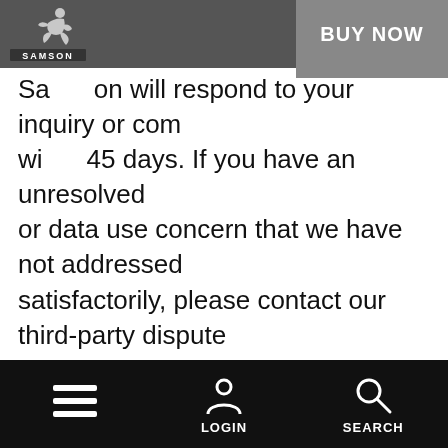[Figure (screenshot): Mobile website header with Samson logo on left and 'BUY NOW' button on right, dark grey background]
Samson will respond to your inquiry or complaint within 45 days. If you have an unresolved privacy or data use concern that we have not addressed satisfactorily, please contact our third-party dispute resolution provider, International Centre for Dispute Resolution, the international division of the American Arbitration Association (ICDR-AAA) to resolve disputes at http://go.adr.org/privacyshield.html or through email at MartinezL@adr.org. This third-party dispute resolution program is specifically designed to resolve Privacy Shield-related complaints with no cost to you. If neither Samson nor our third-party dispute resolution provider resolves your complaint
[Figure (screenshot): Mobile app bottom navigation bar with hamburger menu, LOGIN icon, and SEARCH icon on black background]